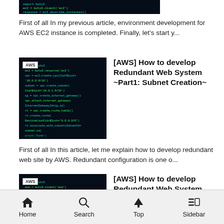[Figure (screenshot): Partial top image of a dark coding/terminal screenshot with green and cyan text]
First of all In my previous article,  environment development for AWS EC2 instance is completed. Finally, let's start y...
[Figure (screenshot): Dark coding/terminal screenshot with green and cyan text, AWS badge overlay]
[AWS] How to develop Redundant Web System ~Part1: Subnet Creation~
First of all In this article, let me explain how to develop redundant web site by AWS. Redundant configuration is one o...
[Figure (screenshot): Dark coding/terminal screenshot with green and cyan text, AWS badge overlay]
[AWS] How to develop Redundant Web System ~Part6: SSL Certificate~
Home  Search  Top  Sidebar